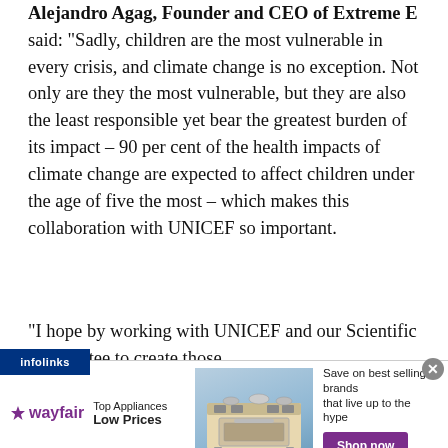Alejandro Agag, Founder and CEO of Extreme E said: “Sadly, children are the most vulnerable in every crisis, and climate change is no exception. Not only are they the most vulnerable, but they are also the least responsible yet bear the greatest burden of its impact – 90 per cent of the health impacts of climate change are expected to affect children under the age of five the most – which makes this collaboration with UNICEF so important.
“I hope by working with UNICEF and our Scientific Committee to create those
[Figure (other): Wayfair advertisement banner: wayfair logo, Top Appliances Low Prices text, image of kitchen appliance range, Save on best selling brands that live up to the hype, Shop now button. Also shows infolinks label and a close button.]